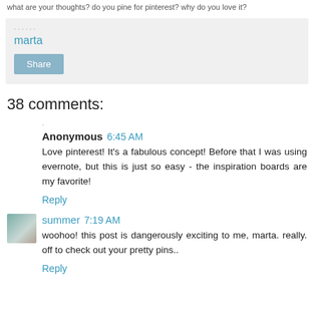what are your thoughts? do you pine for pinterest? why do you love it?
marta
Share
38 comments:
Anonymous 6:45 AM
Love pinterest! It's a fabulous concept! Before that I was using evernote, but this is just so easy - the inspiration boards are my favorite!
Reply
summer 7:19 AM
woohoo! this post is dangerously exciting to me, marta. really. off to check out your pretty pins..
Reply